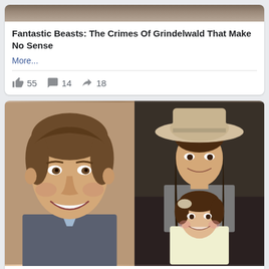[Figure (photo): Top image strip cropped at top of page]
Fantastic Beasts: The Crimes Of Grindelwald That Make No Sense
More...
55  14  18
[Figure (photo): Two side-by-side celebrity photos: left shows a smiling man (Tom Cruise), right shows a woman in a wide-brim hat with a young girl]
10 Of The Worst Celebrity Dads In Hollywood